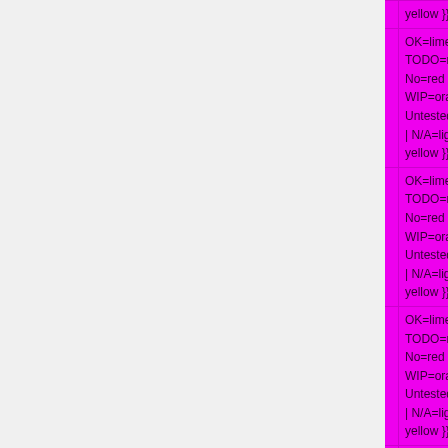| Feature | Status |
| --- | --- |
|  | yellow }}" | N/A=lightgray yellow }}" | N/A |
| On-board CompactFlash | OK=lime | TODO=red | No=red | WIP=orange Untested=yellow | N/A=lightgray yellow }}" | N/A |
| On-board PCMCIA | OK=lime | TODO=red | No=red | WIP=orange Untested=yellow | N/A=lightgra yellow }}" | N/A |
| On-board Wifi | OK=lime | TODO=red | No=red | WIP=orange Untested=yellow | N/A=lightgra yellow }}" | N/A |
| On-board Bluetooth | OK=lime | |